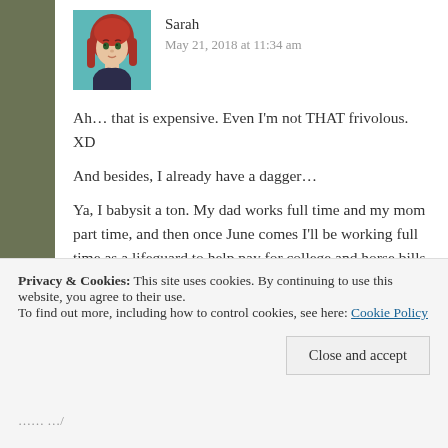Sarah
May 21, 2018 at 11:34 am
Ah… that is expensive. Even I'm not THAT frivolous. XD
And besides, I already have a dagger…
Ya, I babysit a ton. My dad works full time and my mom part time, and then once June comes I'll be working full time as a lifeguard to help pay for college and horse bills and such, so then my little sister gets to babysit! Yay!
High school is terrible. Well… not TERRIBLE, but I'm basically teaching myself because my mom's always busy teaching the younger kids, so I'm constantly trying to keep up and get A's…. it's
Privacy & Cookies: This site uses cookies. By continuing to use this website, you agree to their use.
To find out more, including how to control cookies, see here: Cookie Policy
Close and accept
…… …/